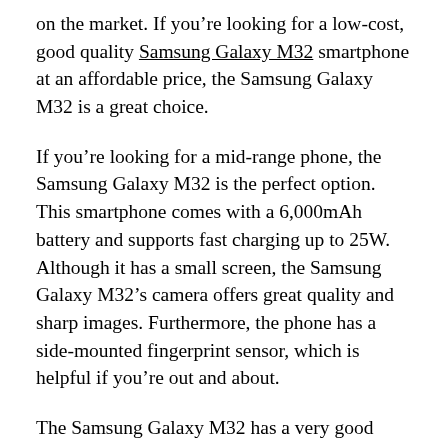on the market. If you're looking for a low-cost, good quality Samsung Galaxy M32 smartphone at an affordable price, the Samsung Galaxy M32 is a great choice.
If you're looking for a mid-range phone, the Samsung Galaxy M32 is the perfect option. This smartphone comes with a 6,000mAh battery and supports fast charging up to 25W. Although it has a small screen, the Samsung Galaxy M32's camera offers great quality and sharp images. Furthermore, the phone has a side-mounted fingerprint sensor, which is helpful if you're out and about.
The Samsung Galaxy M32 has a very good display. It has a 6.4-inch FHD+ display with deep blacks and punchy colours. Its display is highly vibrant and has good viewing angles. However, it doesn't support HDR videos. Despite its mediocre screen, the